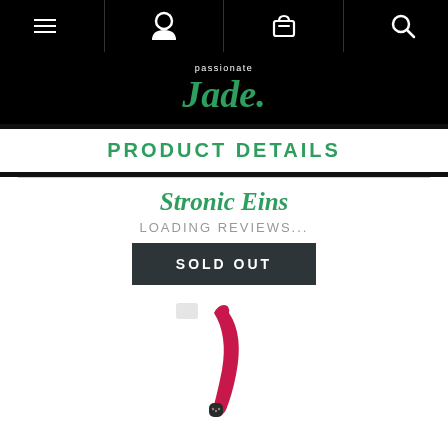Navigation bar with menu, user, cart, and search icons
[Figure (logo): Passionate Jade logo — italic serif 'Jade.' in green with 'passionate' in small white text above, on black background]
PRODUCT DETAILS
Stronic Eins
LOADING REVIEWS...
SOLD OUT
[Figure (photo): Product photo of a curved magenta/pink and black vibrator (Stronic Eins) on white background]